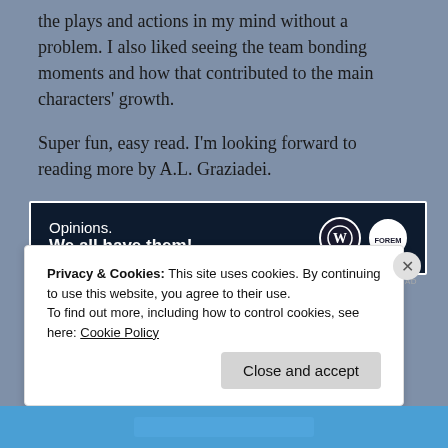the plays and actions in my mind without a problem. I also liked seeing the team bonding moments and how that contributed to the main characters' growth.

Super fun, easy read. I'm looking forward to reading more by A.L. Graziadei.
[Figure (infographic): Advertisement banner with dark navy background reading 'Opinions. We all have them!' with WordPress and Forem Worlds logos on the right side.]
REPORT THIS AD
Privacy & Cookies: This site uses cookies. By continuing to use this website, you agree to their use.
To find out more, including how to control cookies, see here: Cookie Policy
Close and accept